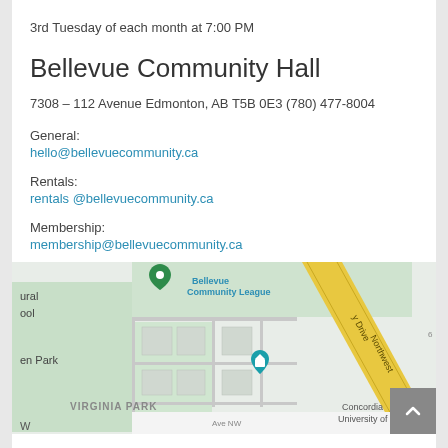3rd Tuesday of each month at 7:00 PM
Bellevue Community Hall
7308 – 112 Avenue Edmonton, AB T5B 0E3 (780) 477-8004
General:
hello@bellevuecommunity.ca
Rentals:
rentals @bellevuecommunity.ca
Membership:
membership@bellevuecommunity.ca
[Figure (map): Google Maps showing Bellevue Community League location in Edmonton, AB, with Virginia Park neighborhood and Concordia University visible]